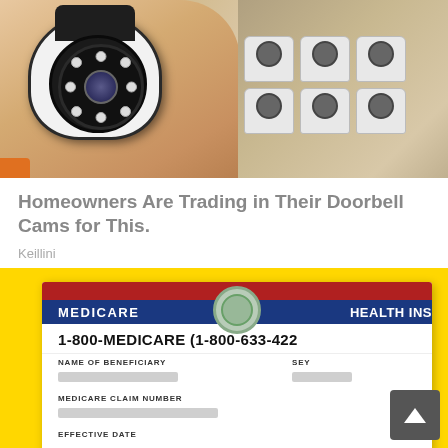[Figure (photo): A hand holding a small white security camera with LED ring, with boxes of more cameras in the background]
Homeowners Are Trading in Their Doorbell Cams for This.
Keillini
[Figure (photo): Medicare health insurance card showing 1-800-MEDICARE (1-800-633-4227), Name of Beneficiary, and Medicare Claim Number fields with personal info blurred, placed on a yellow background, with a scroll-up button overlay]